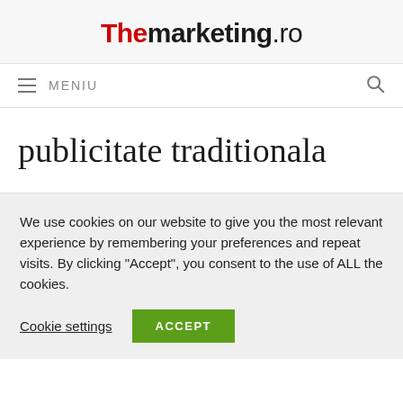Themarketing.ro
≡ MENIU
publicitate traditionala
We use cookies on our website to give you the most relevant experience by remembering your preferences and repeat visits. By clicking "Accept", you consent to the use of ALL the cookies.
Cookie settings   ACCEPT